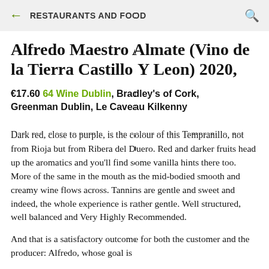← RESTAURANTS AND FOOD 🔍
Alfredo Maestro Almate (Vino de la Tierra Castillo Y Leon) 2020,
€17.60 64 Wine Dublin, Bradley's of Cork, Greenman Dublin, Le Caveau Kilkenny
Dark red, close to purple, is the colour of this Tempranillo, not from Rioja but from Ribera del Duero. Red and darker fruits head up the aromatics and you'll find some vanilla hints there too.  More of the same in the mouth as the mid-bodied smooth and creamy wine flows across. Tannins are gentle and sweet and indeed, the whole experience is rather gentle. Well structured, well balanced and Very Highly Recommended.
And that is a satisfactory outcome for both the customer and the producer: Alfredo, whose goal is